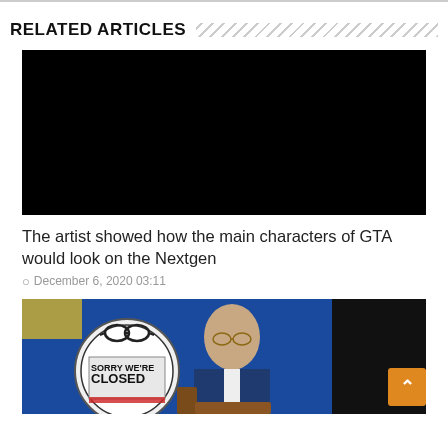RELATED ARTICLES
[Figure (photo): Black rectangle placeholder image for article thumbnail]
The artist showed how the main characters of GTA would look on the Nextgen
December 6, 2020 03:11
[Figure (photo): Composite image: left side shows a 'Sorry We're Closed' sign in circular frame; center shows a bald man in suit with glasses seated in front of blue EU flag; right side is black rectangle]